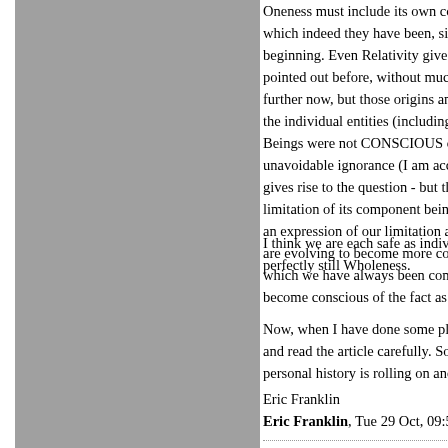[Figure (photo): Gray rectangle placeholder image occupying left portion of page]
Oneness must include its own co- which indeed they have been, sin- beginning. Even Relativity gives a pointed out before, without much further now, but those origins and the individual entities (including B Beings were not CONSCIOUS of unavoidable ignorance (I am accu- gives rise to the question - but the limitation of its component beings an expression of our limitation as are evolving to become more con- which we have always been comp- become conscious of the fact as o
I think we are each safe as indivio- perfectly still Wholeness.
Now, when I have done some plu- and read the article carefully. Son- personal history is rolling on and
Eric Franklin
Eric Franklin, Tue 29 Oct, 09:57